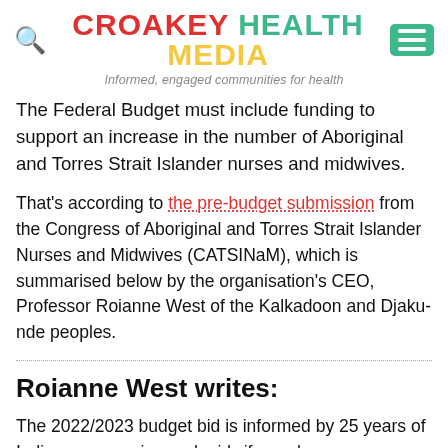CROAKEY HEALTH MEDIA — Informed, engaged communities for health
The Federal Budget must include funding to support an increase in the number of Aboriginal and Torres Strait Islander nurses and midwives.
That's according to the pre-budget submission from the Congress of Aboriginal and Torres Strait Islander Nurses and Midwives (CATSINaM), which is summarised below by the organisation's CEO, Professor Roianne West of the Kalkadoon and Djaku-nde peoples.
Roianne West writes:
The 2022/2023 budget bid is informed by 25 years of Indigenous nursing and midwifery advocacy